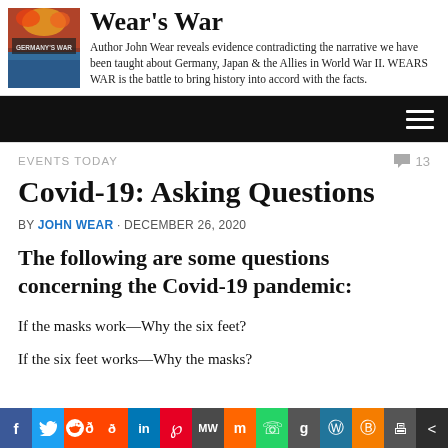Wear's War — Author John Wear reveals evidence contradicting the narrative we have been taught about Germany, Japan & the Allies in World War II. WEARS WAR is the battle to bring history into accord with the facts.
EVENTS TODAY
Covid-19: Asking Questions
BY JOHN WEAR · DECEMBER 26, 2020
The following are some questions concerning the Covid-19 pandemic:
If the masks work—Why the six feet?
If the six feet works—Why the masks?
Social sharing bar: Facebook, Twitter, Reddit, LinkedIn, Pinterest, MeWe, Mix, WhatsApp, Gab, WordPress, Blogger, Print, Share